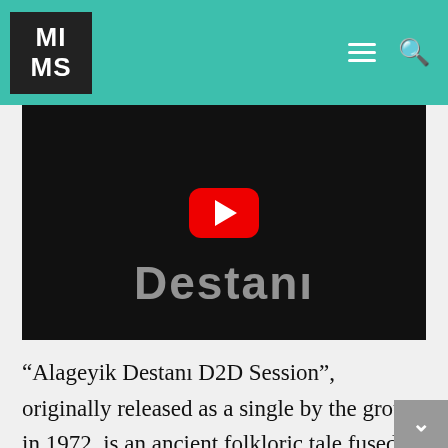MIMS
[Figure (screenshot): YouTube video thumbnail showing the word 'Destanı' in large text on a black background, with a red YouTube play button in the center.]
“Alageyik Destanı D2D Session”, originally released as a single by the group in 1972, is an ancient folkloric tale fused with Western pop, a clear example of the group’s pioneering and now classic Anadolu psych sound. The trippy single sees the stringed Yaylı Tambur (the oldest bowed Turkish instrument) take charge